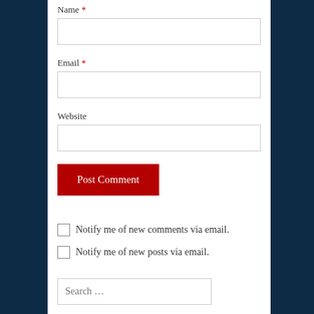Name *
Email *
Website
Post Comment
Notify me of new comments via email.
Notify me of new posts via email.
Search ...